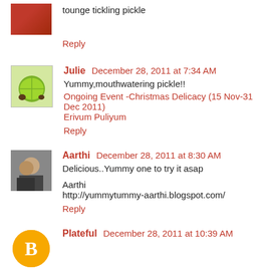tounge tickling pickle
Reply
Julie  December 28, 2011 at 7:34 AM
Yummy,mouthwatering pickle!!
Ongoing Event -Christmas Delicacy (15 Nov-31 Dec 2011)
Erivum Puliyum
Reply
Aarthi  December 28, 2011 at 8:30 AM
Delicious..Yummy one to try it asap
Aarthi
http://yummytummy-aarthi.blogspot.com/
Reply
Plateful  December 28, 2011 at 10:39 AM